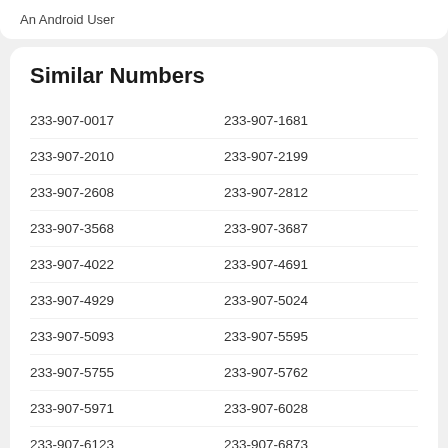An Android User
Similar Numbers
233-907-0017
233-907-1681
233-907-2010
233-907-2199
233-907-2608
233-907-2812
233-907-3568
233-907-3687
233-907-4022
233-907-4691
233-907-4929
233-907-5024
233-907-5093
233-907-5595
233-907-5755
233-907-5762
233-907-5971
233-907-6028
233-907-6123
233-907-6873
233-907-6881
233-907-7593